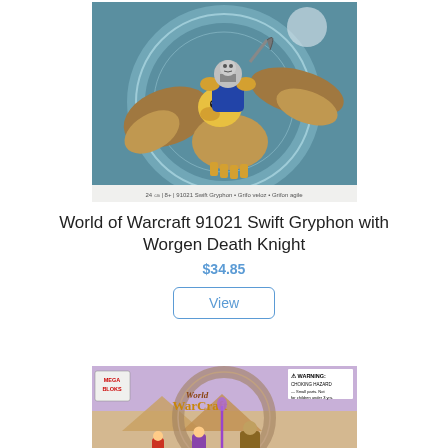[Figure (photo): World of Warcraft Mega Bloks 91021 Swift Gryphon with Worgen Death Knight product box image showing a gryphon figure with armored rider against a circular rune background]
World of Warcraft 91021 Swift Gryphon with Worgen Death Knight
$34.85
View
[Figure (photo): World of Warcraft Mega Bloks product box showing World of Warcraft logo with warning label and desert scene figures]